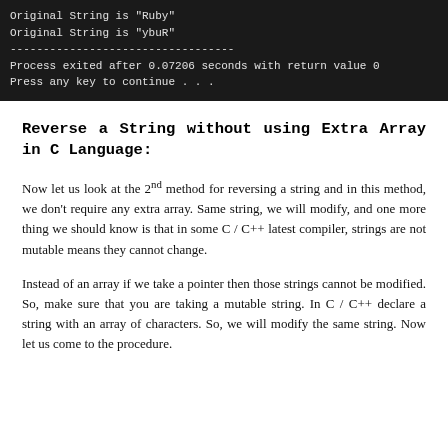[Figure (screenshot): Terminal output showing: Original String is "Ruby", Original String is "ybuR", dashes, Process exited after 0.07206 seconds with return value 0, Press any key to continue . . .]
Reverse a String without using Extra Array in C Language:
Now let us look at the 2nd method for reversing a string and in this method, we don't require any extra array. Same string, we will modify, and one more thing we should know is that in some C / C++ latest compiler, strings are not mutable means they cannot change.
Instead of an array if we take a pointer then those strings cannot be modified. So, make sure that you are taking a mutable string. In C / C++ declare a string with an array of characters. So, we will modify the same string. Now let us come to the procedure.